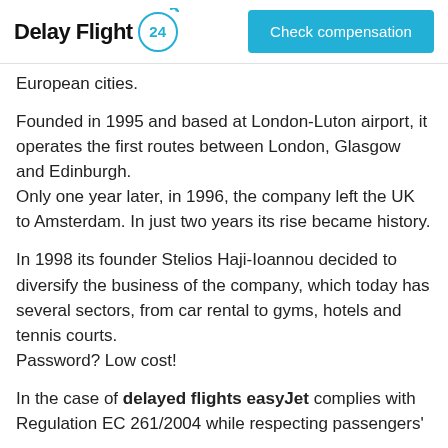Delay Flight 24 | Check compensation
European cities.
Founded in 1995 and based at London-Luton airport, it operates the first routes between London, Glasgow and Edinburgh.
Only one year later, in 1996, the company left the UK to Amsterdam. In just two years its rise became history.
In 1998 its founder Stelios Haji-Ioannou decided to diversify the business of the company, which today has several sectors, from car rental to gyms, hotels and tennis courts.
Password? Low cost!
In the case of delayed flights easyJet complies with Regulation EC 261/2004 while respecting passengers'